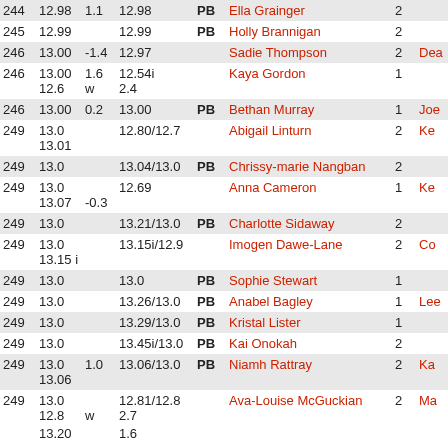| Pos | Perf | Wind | PB/SB |  | Name | N | Club |
| --- | --- | --- | --- | --- | --- | --- | --- |
| 244 | 12.98 | 1.1 | 12.98 | PB | Ella Grainger | 2 |  |
| 245 | 12.99 |  | 12.99 | PB | Holly Brannigan | 2 |  |
| 246 | 13.00 | -1.4 | 12.97 |  | Sadie Thompson | 2 | Dea |
| 246 | 13.00 | 1.6 | 12.54i |  | Kaya Gordon | 1 |  |
|  | 12.6 | w | 2.4 |  |  |  |  |
| 246 | 13.00 | 0.2 | 13.00 | PB | Bethan Murray | 1 | Joe |
| 249 | 13.0 |  | 12.80/12.7 |  | Abigail Linturn | 2 | Ke |
|  | 13.01 |  |  |  |  |  |  |
| 249 | 13.0 |  | 13.04/13.0 | PB | Chrissy-marie Nangban | 2 |  |
| 249 | 13.0 |  | 12.69 |  | Anna Cameron | 1 | Ke |
|  | 13.07 | -0.3 |  |  |  |  |  |
| 249 | 13.0 |  | 13.21/13.0 | PB | Charlotte Sidaway | 2 |  |
| 249 | 13.0 |  | 13.15i/12.9 |  | Imogen Dawe-Lane | 2 | Co |
|  | 13.15 | i |  |  |  |  |  |
| 249 | 13.0 |  | 13.0 | PB | Sophie Stewart | 1 |  |
| 249 | 13.0 |  | 13.26/13.0 | PB | Anabel Bagley | 1 | Lee |
| 249 | 13.0 |  | 13.29/13.0 | PB | Kristal Lister | 1 |  |
| 249 | 13.0 |  | 13.45i/13.0 | PB | Kai Onokah | 2 |  |
| 249 | 13.0 | 1.0 | 13.06/13.0 | PB | Niamh Rattray | 2 | Ka |
|  | 13.06 |  |  |  |  |  |  |
| 249 | 13.0 |  | 12.81/12.8 |  | Ava-Louise McGuckian | 2 | Ma |
|  | 12.8 | w | 2.7 |  |  |  |  |
|  | 13.20 |  | 1.6 |  |  |  |  |